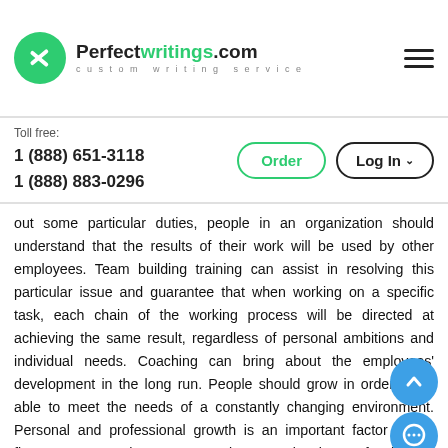Perfectwritings.com — custom writing service
Toll free:
1 (888) 651-3118
1 (888) 883-0296
out some particular duties, people in an organization should understand that the results of their work will be used by other employees. Team building training can assist in resolving this particular issue and guarantee that when working on a specific task, each chain of the working process will be directed at achieving the same result, regardless of personal ambitions and individual needs. Coaching can bring about the employees' development in the long run. People should grow in order to be able to meet the needs of a constantly changing environment. Personal and professional growth is an important factor in the firm's success. When a person does not develop professionally, he/she may be incapable of adapting to a swiftly changing business environment required to ensure the profitability and success of the company. Training can help people learn to implement new strategies, develop new skills and knowledge